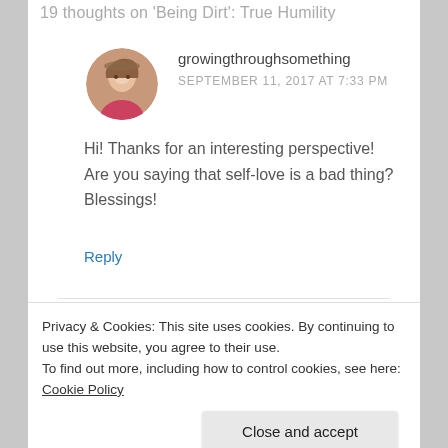19 thoughts on 'Being Dirt': True Humility
growingthroughsomething
SEPTEMBER 11, 2017 AT 7:33 PM
Hi! Thanks for an interesting perspective! Are you saying that self-love is a bad thing? Blessings!
Reply
[Figure (photo): Circular avatar photo of user growingthroughsomething, a woman with long hair wearing a hat]
[Figure (photo): Circular avatar photo of user thewayonline, a woman with dark hair]
thewayonline
Privacy & Cookies: This site uses cookies. By continuing to use this website, you agree to their use. To find out more, including how to control cookies, see here: Cookie Policy
Close and accept